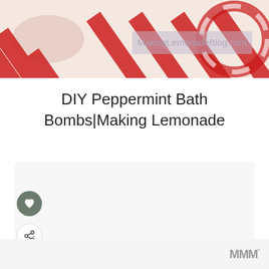[Figure (photo): Peppermint candy cane decorations with red and white stripes, with MakingLemonadeBlog.com watermark overlay]
DIY Peppermint Bath Bombs|Making Lemonade
[Figure (screenshot): Web content card area with heart (save) button and share button on the left side, dots navigation at bottom, and a What's Next recommendation bar showing 'Clever Gifts From The...' with a thumbnail image]
[Figure (logo): MMM degree symbol logo in grey at bottom right]